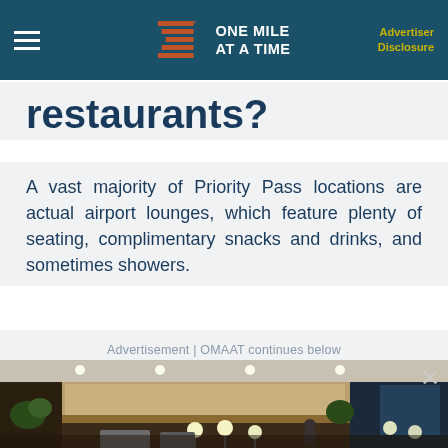ONE MILE AT A TIME | Advertiser Disclosure
restaurants?
A vast majority of Priority Pass locations are actual airport lounges, which feature plenty of seating, complimentary snacks and drinks, and sometimes showers.
Advertisement | OMAAT continues below
[Figure (photo): Interior of an airport lounge showing seating area, plants, bar/buffet area with warm lighting at night]